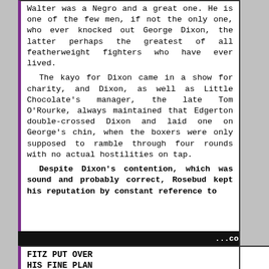Walter was a Negro and a great one. He is one of the few men, if not the only one, who ever knocked out George Dixon, the latter perhaps the greatest of all featherweight fighters who have ever lived. The kayo for Dixon came in a show for charity, and Dixon, as well as Little Chocolate's manager, the late Tom O'Rourke, always maintained that Edgerton double-crossed Dixon and laid one on George's chin, when the boxers were only supposed to ramble through four rounds with no actual hostilities on tap. Despite Dixon's contention, which was sound and probably correct, Rosebud kept his reputation by constant reference to
...continue
FITZ PUT OVER HIS FINE PLAN